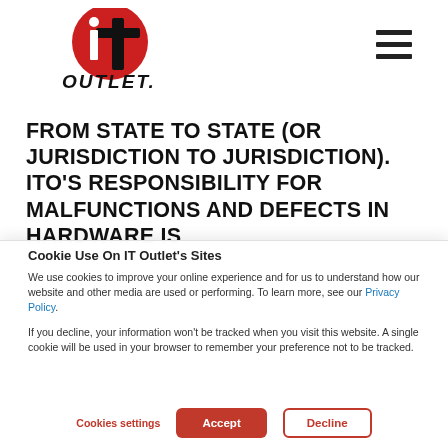[Figure (logo): IT Outlet logo with stylized 'it' letters in red and black, with 'OUTLET.' text below in black italic]
FROM STATE TO STATE (OR JURISDICTION TO JURISDICTION). ITO'S RESPONSIBILITY FOR MALFUNCTIONS AND DEFECTS IN HARDWARE IS
Cookie Use On IT Outlet's Sites
We use cookies to improve your online experience and for us to understand how our website and other media are used or performing. To learn more, see our Privacy Policy.
If you decline, your information won't be tracked when you visit this website. A single cookie will be used in your browser to remember your preference not to be tracked.
Cookies settings  Accept  Decline